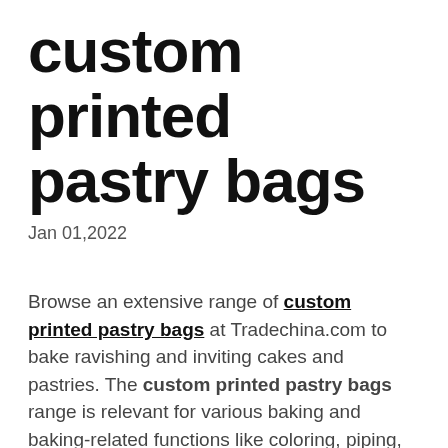custom printed pastry bags
Jan 01,2022
Browse an extensive range of custom printed pastry bags at Tradechina.com to bake ravishing and inviting cakes and pastries. The custom printed pastry bags range is relevant for various baking and baking-related functions like coloring, piping, fondant modeling, stenciling, layering, and